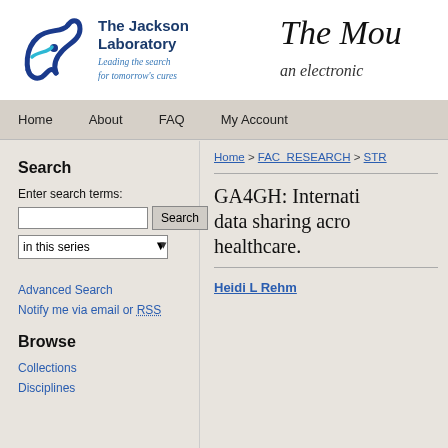[Figure (logo): The Jackson Laboratory logo with swoosh icon and tagline 'Leading the search for tomorrow's cures']
The Mou
an electronic
Home  About  FAQ  My Account
Search
Enter search terms:
in this series
Advanced Search
Notify me via email or RSS
Browse
Collections
Disciplines
Home > FAC_RESEARCH > STR
GA4GH: Internati... data sharing acro... healthcare.
Heidi L Rehm